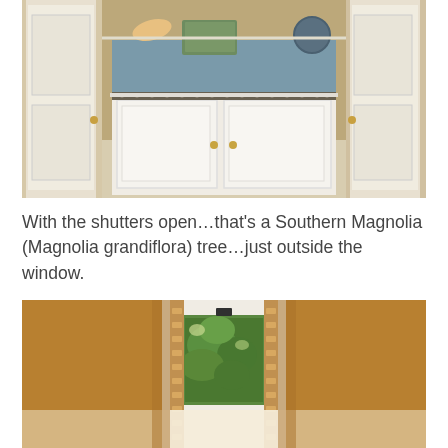[Figure (photo): Interior room photo showing a built-in window seat with blue cushion and nailhead trim, white cabinetry below with brass knobs, flanked by two white doors with brass hardware, beige carpet, angled ceiling.]
With the shutters open…that's a Southern Magnolia (Magnolia grandiflora) tree…just outside the window.
[Figure (photo): Interior room photo showing open wooden plantation shutters revealing a lush green Southern Magnolia tree through the window, warm golden-yellow walls, white window frame, with a bright reflective floor below.]